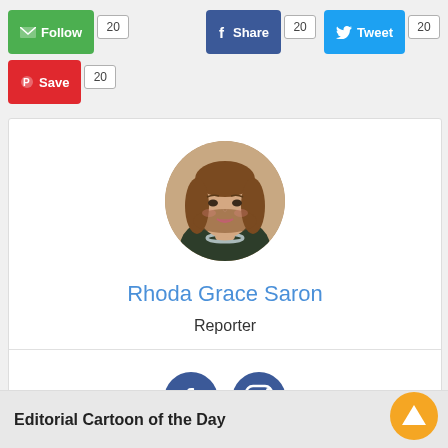[Figure (other): Social sharing buttons: Follow (green), Save (red), Facebook Share (blue), Tweet (Twitter blue), each with count badge showing 20]
[Figure (photo): Circular profile photo of Rhoda Grace Saron, a woman with long brown hair and a necklace]
Rhoda Grace Saron
Reporter
[Figure (other): Facebook and Instagram social media icon buttons]
Editorial Cartoon of the Day